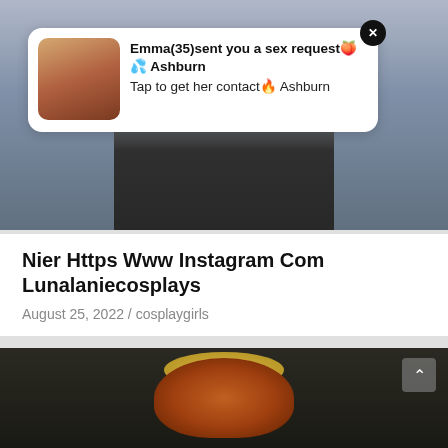[Figure (screenshot): Top banner image showing lower body with black knee-high boots/stockings against a light background]
Emma(35)sent you a sex request🍑💦 Ashburn
Tap to get her contact🔥 Ashburn
GIRLS WITH COSTUMES
Nier Https Www Instagram Com Lunalaniecosplays
August 25, 2022 / cosplaygirls
[Figure (photo): Bottom photo showing person with red/auburn hair and dark clothing, from above angle]